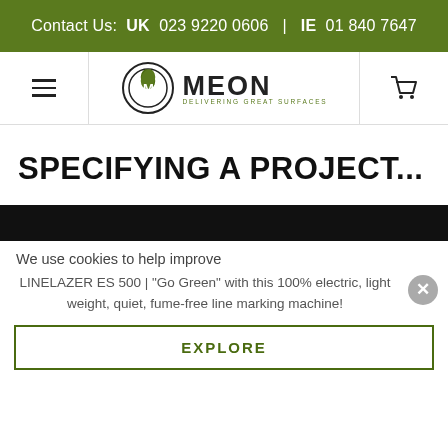Contact Us: UK 023 9220 0606 | IE 01 840 7647
[Figure (logo): MEON logo with circular M icon and text DELIVERING GREAT SURFACES]
SPECIFYING A PROJECT...
We use cookies to help improve
LINELAZER ES 500 | "Go Green" with this 100% electric, light weight, quiet, fume-free line marking machine!
EXPLORE